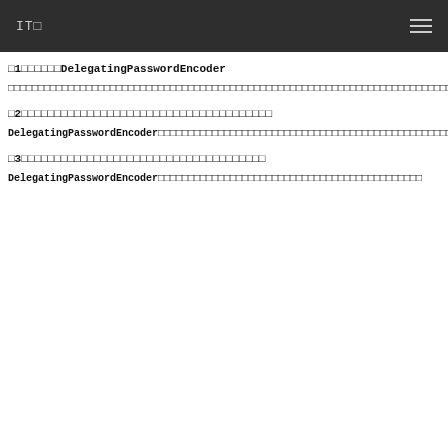IT□
□1□□□□□□DelegatingPasswordEncoder
□□□□□□□□□□□□□□□□□□□□□□□□□□□□□□□□□□□□□□□□□□□□□□□□□□□□□□□□□□□□□□□□□□□□□□□□□□□
□2□□□□□□□□□□□□□□□□□□□□□□□□□□□□□□□□□□
DelegatingPasswordEncoder□□□□□□□□□□□□□□□□□□□□□□□□□□□□□□□□□□□□□□□□□□□□□□□
□3□□□□□□□□□□□□□□□□□□□□□□□□□□□
DelegatingPasswordEncoder□□□□□□□□